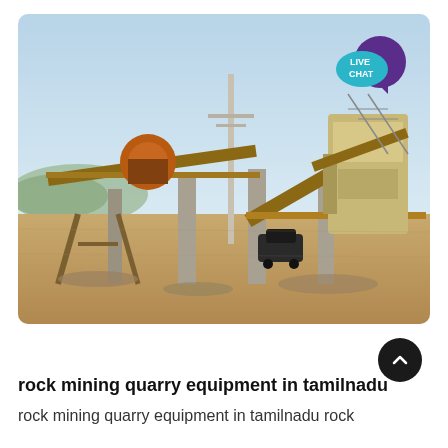[Figure (photo): A rock mining quarry equipment site in Tamilnadu showing industrial machinery including conveyor belts, crushers, and a tall concrete pole against a hazy blue sky. The site has sandy/rocky ground with various heavy equipment and a dark vehicle in the background. A purple speech bubble icon with 'LIVE CHAT' text appears in the top right corner.]
rock mining quarry equipment in tamilnadu
rock mining quarry equipment in tamilnadu rock